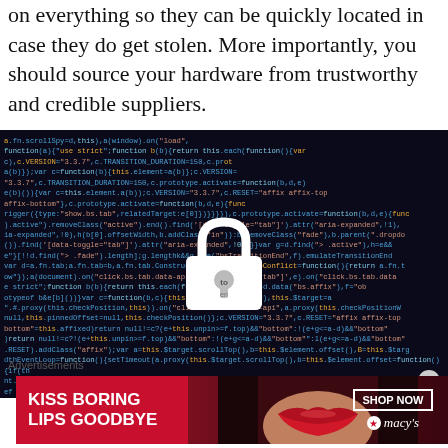on everything so they can be quickly located in case they do get stolen. More importantly, you should source your hardware from trustworthy and credible suppliers.
[Figure (illustration): Dark background with overlaid JavaScript/Bootstrap source code in blue monospace font, with a white padlock icon centered over the code, symbolizing cybersecurity or data security.]
Advertisements
[Figure (photo): Advertisement banner for Macy's: red background with 'KISS BORING LIPS GOODBYE' text on the left, a woman's face with red lips in the center, and a 'SHOP NOW' button with Macy's logo on the right.]